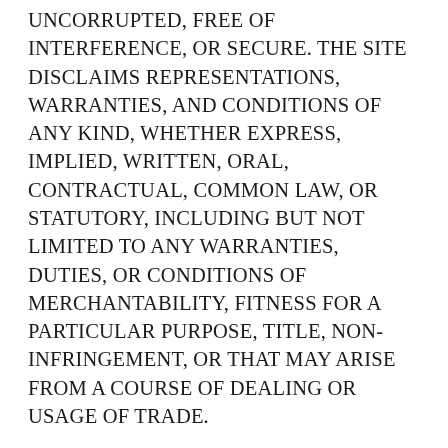UNCORRUPTED, FREE OF INTERFERENCE, OR SECURE. THE SITE DISCLAIMS REPRESENTATIONS, WARRANTIES, AND CONDITIONS OF ANY KIND, WHETHER EXPRESS, IMPLIED, WRITTEN, ORAL, CONTRACTUAL, COMMON LAW, OR STATUTORY, INCLUDING BUT NOT LIMITED TO ANY WARRANTIES, DUTIES, OR CONDITIONS OF MERCHANTABILITY, FITNESS FOR A PARTICULAR PURPOSE, TITLE, NON-INFRINGEMENT, OR THAT MAY ARISE FROM A COURSE OF DEALING OR USAGE OF TRADE.
Liability Is Limited
THE SITE SHALL NOT BE LIABLE FOR INDIRECT, SPECIAL, INCIDENTAL, CONSEQUENTIAL, EXEMPLARY, OR PUNITIVE DAMAGES OF ANY KIND,